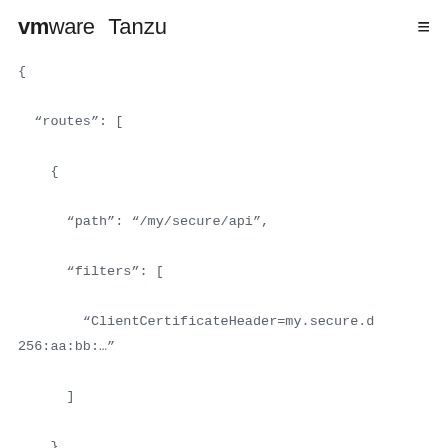vmware Tanzu
{
  "routes": [

    {

      "path": "/my/secure/api",

      "filters": [

        "ClientCertificateHeader=my.secure.d256:aa:bb:…"

      ]

    }